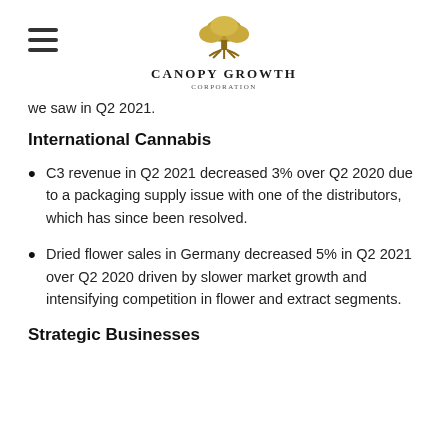CANOPY GROWTH CORPORATION
we saw in Q2 2021.
International Cannabis
C3 revenue in Q2 2021 decreased 3% over Q2 2020 due to a packaging supply issue with one of the distributors, which has since been resolved.
Dried flower sales in Germany decreased 5% in Q2 2021 over Q2 2020 driven by slower market growth and intensifying competition in flower and extract segments.
Strategic Businesses